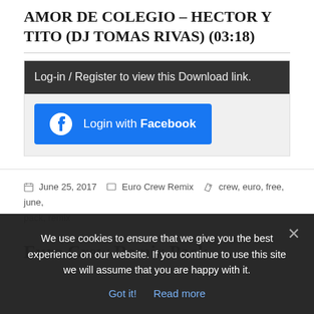AMOR DE COLEGIO – HECTOR Y TITO (DJ TOMAS RIVAS) (03:18)
Log-in / Register to view this Download link.
[Figure (other): Login with Facebook button featuring Facebook logo icon]
June 25, 2017  Euro Crew Remix  crew, euro, free, june, pack, remix
Euro Crew Remix Pack
We use cookies to ensure that we give you the best experience on our website. If you continue to use this site we will assume that you are happy with it.
Got it!   Read more